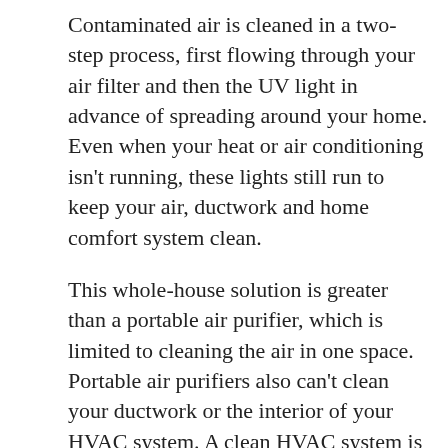Contaminated air is cleaned in a two-step process, first flowing through your air filter and then the UV light in advance of spreading around your home. Even when your heat or air conditioning isn't running, these lights still run to keep your air, ductwork and home comfort system clean.
This whole-house solution is greater than a portable air purifier, which is limited to cleaning the air in one space. Portable air purifiers also can't clean your ductwork or the interior of your HVAC system. A clean HVAC system is typically a more efficient one that may even run for a longer life span. And, some portable air purifiers have a bad reputation for making ozone.
When thinking about adding a germicidal lamp to your house, it's critical to look for one that doesn't